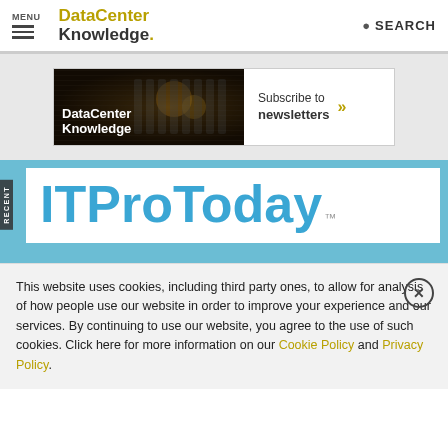MENU | DataCenter Knowledge. | SEARCH
[Figure (logo): DataCenter Knowledge logo banner with Data Center Knowledge text and Subscribe to newsletters call to action]
[Figure (logo): ITPro Today logo on light blue background with RECENT label on left side]
This website uses cookies, including third party ones, to allow for analysis of how people use our website in order to improve your experience and our services. By continuing to use our website, you agree to the use of such cookies. Click here for more information on our Cookie Policy and Privacy Policy.